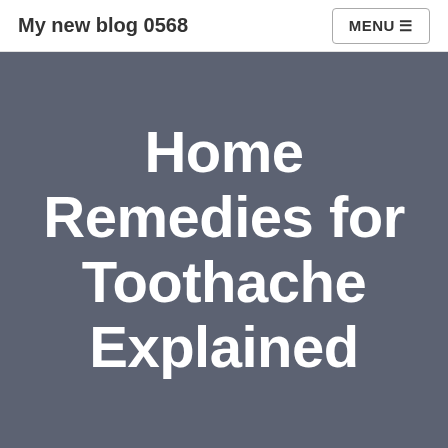My new blog 0568
Home Remedies for Toothache Explained